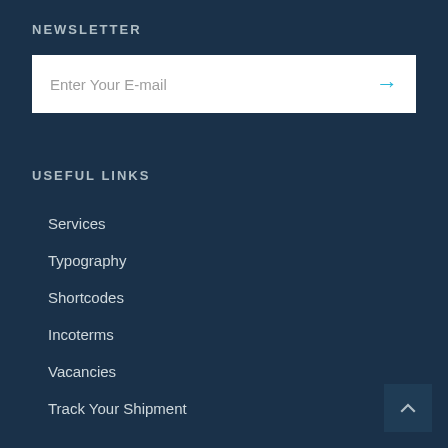NEWSLETTER
Enter Your E-mail
USEFUL LINKS
Services
Typography
Shortcodes
Incoterms
Vacancies
Track Your Shipment